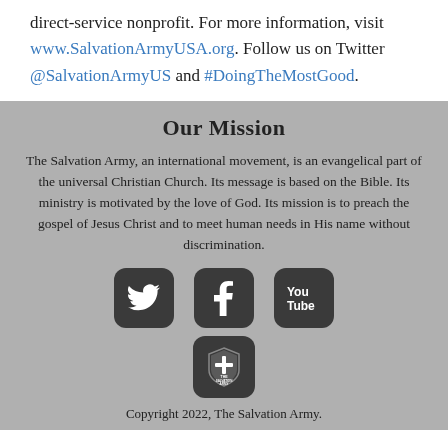direct-service nonprofit. For more information, visit www.SalvationArmyUSA.org. Follow us on Twitter @SalvationArmyUS and #DoingTheMostGood.
Our Mission
The Salvation Army, an international movement, is an evangelical part of the universal Christian Church. Its message is based on the Bible. Its ministry is motivated by the love of God. Its mission is to preach the gospel of Jesus Christ and to meet human needs in His name without discrimination.
[Figure (illustration): Three social media icons in rounded square buttons: Twitter bird, Facebook f, and YouTube logo]
[Figure (logo): The Salvation Army shield logo in a rounded square button]
Copyright 2022, The Salvation Army.